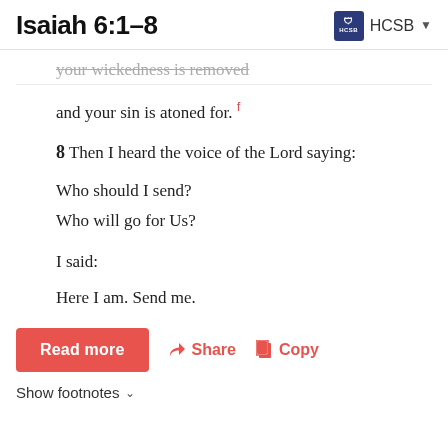Isaiah 6:1–8 | HCSB
your wickedness is removed
and your sin is atoned for. f
8 Then I heard the voice of the Lord saying:
Who should I send?
Who will go for Us?
I said:
Here I am. Send me.
Read more   Share   Copy
Show footnotes